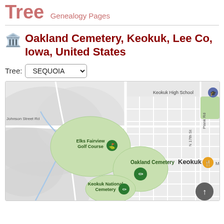Tree  Genealogy Pages
Oakland Cemetery, Keokuk, Lee Co, Iowa, United States
Tree: SEQUOIA
[Figure (map): Google Maps view centered on Oakland Cemetery in Keokuk, Iowa. Shows surrounding streets, Elks Fairview Golf Course (green area), Keokuk National Cemetery, Keokuk High School label, Johnson Street Rd label, Plank Rd label, N 17th St label, and Keokuk city label. Map pins mark Oakland Cemetery and Keokuk National Cemetery. A navigation arrow button appears bottom right.]